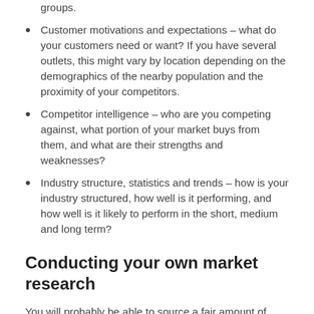groups.
Customer motivations and expectations – what do your customers need or want? If you have several outlets, this might vary by location depending on the demographics of the nearby population and the proximity of your competitors.
Competitor intelligence – who are you competing against, what portion of your market buys from them, and what are their strengths and weaknesses?
Industry structure, statistics and trends – how is your industry structured, how well is it performing, and how well is it likely to perform in the short, medium and long term?
Conducting your own market research
You will probably be able to source a fair amount of information about your market, and your industry, online.